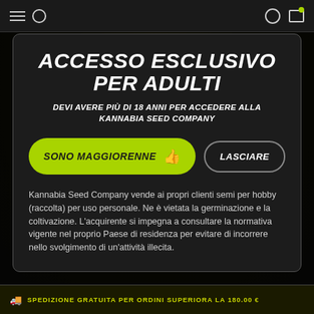Navigation bar (hamburger, search, user, cart icons)
ACCESSO ESCLUSIVO PER ADULTI
DEVI AVERE PIÙ DI 18 ANNI PER ACCEDERE ALLA KANNABIA SEED COMPANY
[Figure (other): Two buttons: green pill button 'SONO MAGGIORENNE' with thumbs-up icon, and black outline pill button 'LASCIARE']
Kannabia Seed Company vende ai propri clienti semi per hobby (raccolta) per uso personale. Ne è vietata la germinazione e la coltivazione. L'acquirente si impegna a consultare la normativa vigente nel proprio Paese di residenza per evitare di incorrere nello svolgimento di un'attività illecita.
SPEDIZIONE GRATUITA PER ORDINI SUPERIORA LA 180.00 €